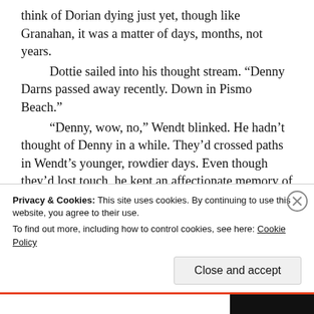think of Dorian dying just yet, though like Granahan, it was a matter of days, months, not years.

	Dottie sailed into his thought stream.  “Denny Darns passed away recently.  Down in Pismo Beach.”

	“Denny, wow, no,” Wendt blinked.  He hadn’t thought of Denny in a while.  They’d crossed paths in Wendt’s younger, rowdier days.  Even though they’d lost touch, he kept an affectionate memory of the wild old man.  There was a little more than a decade’s difference in their ages, though he remembered Denny holding his own at the drinking trough.

	“He was at Iowa when Ly was there, teaching fiction.”
	“Didn’t he get fired from the program?”
Privacy & Cookies: This site uses cookies. By continuing to use this website, you agree to their use.
To find out more, including how to control cookies, see here: Cookie Policy
Close and accept